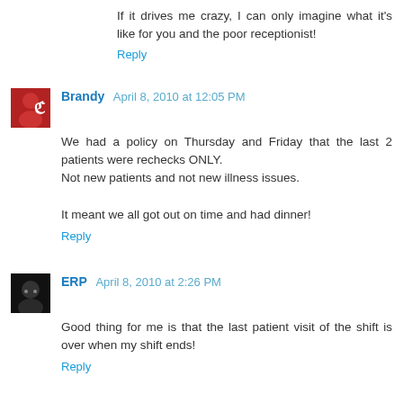If it drives me crazy, I can only imagine what it's like for you and the poor receptionist!
Reply
Brandy April 8, 2010 at 12:05 PM
We had a policy on Thursday and Friday that the last 2 patients were rechecks ONLY.
Not new patients and not new illness issues.

It meant we all got out on time and had dinner!
Reply
ERP April 8, 2010 at 2:26 PM
Good thing for me is that the last patient visit of the shift is over when my shift ends!
Reply